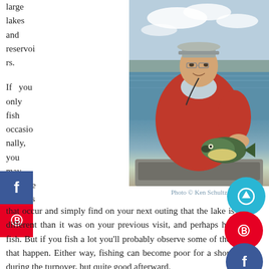large lakes and reservoirs.
[Figure (photo): Man in red jacket and gray cap holding a large bass fish on a boat with a lake in background. Caption: Photo © Ken Schultz]
Photo © Ken Schultz
If you only fish occasionally, you may miss the changes that occur and simply find on your next outing that the lake is quite different than it was on your previous visit, and perhaps harder to fish. But if you fish a lot you'll probably observe some of the things that happen. Either way, fishing can become poor for a short while during the turnover, but quite good afterward.